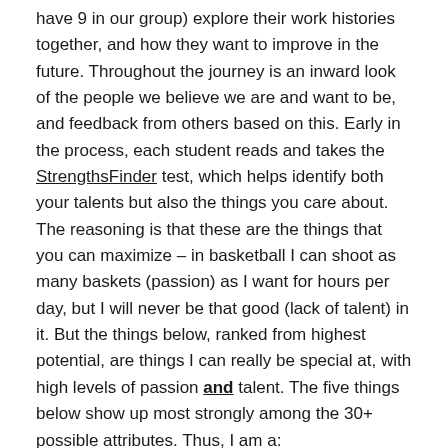have 9 in our group) explore their work histories together, and how they want to improve in the future. Throughout the journey is an inward look of the people we believe we are and want to be, and feedback from others based on this. Early in the process, each student reads and takes the StrengthsFinder test, which helps identify both your talents but also the things you care about. The reasoning is that these are the things that you can maximize – in basketball I can shoot as many baskets (passion) as I want for hours per day, but I will never be that good (lack of talent) in it. But the things below, ranked from highest potential, are things I can really be special at, with high levels of passion and talent. The five things below show up most strongly among the 30+ possible attributes. Thus, I am a:
1) Relator
People who are especially talented in the Relator theme enjoy close relationships with others. They